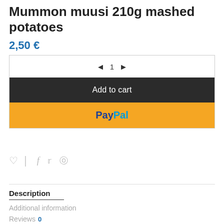Mummon muusi 210g mashed potatoes
2,50 €
[Figure (screenshot): E-commerce product page widget showing quantity selector with left/right arrows and number 1, Add to cart button (dark), and PayPal button (yellow)]
[Figure (other): Social sharing icons: heart (wishlist), vertical divider, Facebook (f), Twitter (bird), Pinterest (p)]
Description
Additional information
Reviews 0